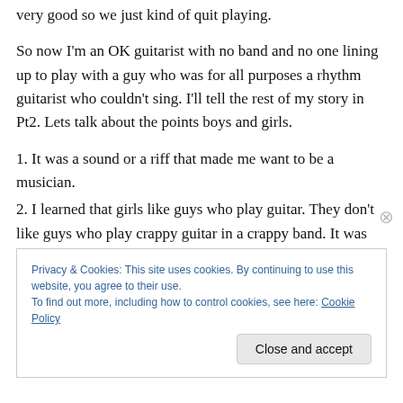very good so we just kind of quit playing.
So now I'm an OK guitarist with no band and no one lining up to play with a guy who was for all purposes a rhythm guitarist who couldn't sing. I'll tell the rest of my story in Pt2. Lets talk about the points boys and girls.
1. It was a sound or a riff that made me want to be a musician.
2. I learned that girls like guys who play guitar. They don't like guys who play crappy guitar in a crappy band. It was years before getting girls just because you were in a really
Privacy & Cookies: This site uses cookies. By continuing to use this website, you agree to their use.
To find out more, including how to control cookies, see here: Cookie Policy
Close and accept